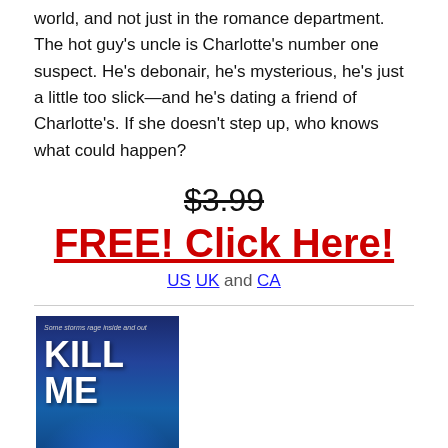world, and not just in the romance department. The hot guy's uncle is Charlotte's number one suspect. He's debonair, he's mysterious, he's just a little too slick—and he's dating a friend of Charlotte's. If she doesn't step up, who knows what could happen?
$3.99 FREE! Click Here! US UK and CA
[Figure (illustration): Book cover for 'Kill Me' with dark blue stormy background and white bold text reading KILL ME. Tagline reads 'Some storms rage inside and out'.]